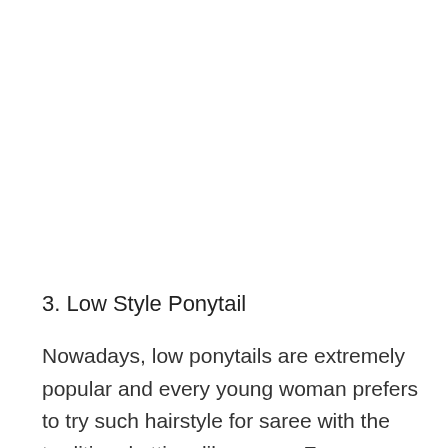3. Low Style Ponytail
Nowadays, low ponytails are extremely popular and every young woman prefers to try such hairstyle for saree with the traditional attires like saree. For a super cool